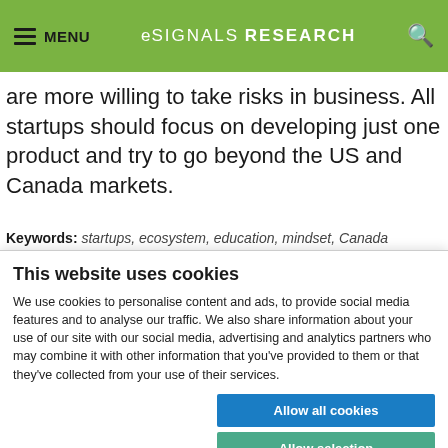MENU | eSIGNALS RESEARCH | [search icon]
are more willing to take risks in business. All startups should focus on developing just one product and try to go beyond the US and Canada markets.
Keywords: startups, ecosystem, education, mindset, Canada
This website uses cookies
We use cookies to personalise content and ads, to provide social media features and to analyse our traffic. We also share information about your use of our site with our social media, advertising and analytics partners who may combine it with other information that you've provided to them or that they've collected from your use of their services.
Allow all cookies | Allow selection | Use necessary cookies only
Necessary | Preferences | Statistics | Marketing | Show details